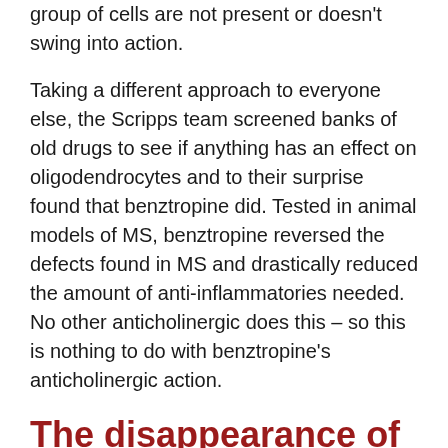group of cells are not present or doesn't swing into action.
Taking a different approach to everyone else, the Scripps team screened banks of old drugs to see if anything has an effect on oligodendrocytes and to their surprise found that benztropine did. Tested in animal models of MS, benztropine reversed the defects found in MS and drastically reduced the amount of anti-inflammatories needed. No other anticholinergic does this – so this is nothing to do with benztropine's anticholinergic action.
The disappearance of Cogentin
Given this, it's perhaps not surprising to find that around the time this research was first heard of Merck removed Cogentin from almost all markets – even China. The suspicion has to be they and